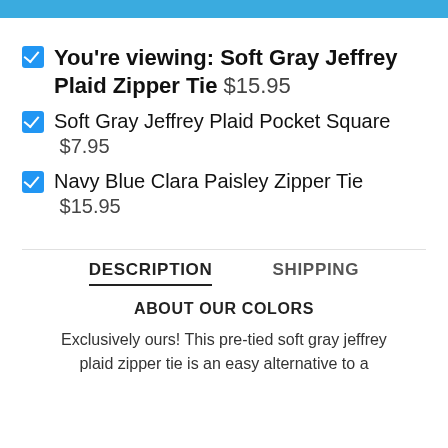You're viewing: Soft Gray Jeffrey Plaid Zipper Tie $15.95
Soft Gray Jeffrey Plaid Pocket Square $7.95
Navy Blue Clara Paisley Zipper Tie $15.95
DESCRIPTION
SHIPPING
ABOUT OUR COLORS
Exclusively ours! This pre-tied soft gray jeffrey plaid zipper tie is an easy alternative to a